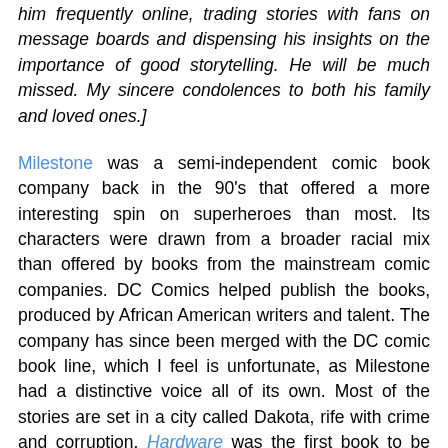him frequently online, trading stories with fans on message boards and dispensing his insights on the importance of good storytelling. He will be much missed. My sincere condolences to both his family and loved ones.]
Milestone was a semi-independent comic book company back in the 90's that offered a more interesting spin on superheroes than most. Its characters were drawn from a broader racial mix than offered by books from the mainstream comic companies. DC Comics helped publish the books, produced by African American writers and talent. The company has since been merged with the DC comic book line, which I feel is unfortunate, as Milestone had a distinctive voice all of its own. Most of the stories are set in a city called Dakota, rife with crime and corruption. Hardware was the first book to be published by